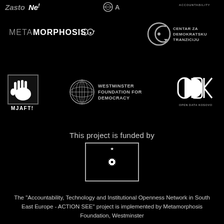[Figure (logo): ZastoNe? logo - stylized text with question mark, top left]
[Figure (logo): OSA logo - circular emblem, center top]
[Figure (logo): Accountability text logo, top right]
[Figure (logo): Metamorphosis logo with glasses icon, second row left]
[Figure (logo): Centar Za Demokratsku Tranziciju logo with circular C emblem, second row right]
[Figure (logo): MJAFT! logo - hand print in black box, third row left]
[Figure (logo): Westminster Foundation for Democracy logo with globe, third row center]
[Figure (logo): Open Data Kosovo (ODK) logo, third row right]
This project is funded by
[Figure (logo): European Union flag - circle of stars in rectangular border]
The "Accountability, Technology and Institutional Openness Network in South East Europe - ACTION SEE" project is implemented by Metamorphosis Foundation, Westminster